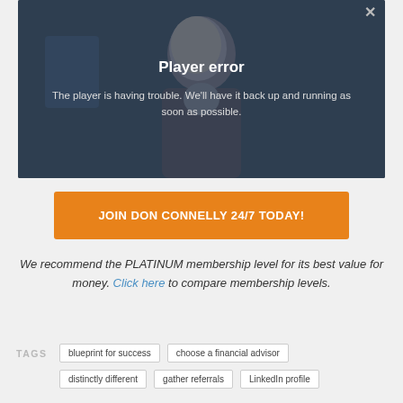[Figure (screenshot): Video player showing player error message with a person in dark background. Title: Player error. Message: The player is having trouble. We'll have it back up and running as soon as possible.]
JOIN DON CONNELLY 24/7 TODAY!
We recommend the PLATINUM membership level for its best value for money. Click here to compare membership levels.
TAGS  blueprint for success  choose a financial advisor  distinctly different  gather referrals  LinkedIn profile